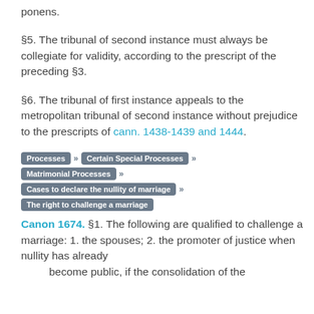ponens.
§5. The tribunal of second instance must always be collegiate for validity, according to the prescript of the preceding §3.
§6. The tribunal of first instance appeals to the metropolitan tribunal of second instance without prejudice to the prescripts of cann. 1438-1439 and 1444.
Processes » Certain Special Processes » Matrimonial Processes » Cases to declare the nullity of marriage » The right to challenge a marriage
Canon 1674. §1. The following are qualified to challenge a marriage: 1. the spouses; 2. the promoter of justice when nullity has already become public, if the consolidation of the